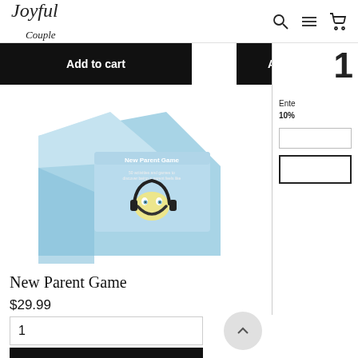Joyful Couple
Add to cart
Add to cart
[Figure (photo): New Parent Game product box on a light blue geometric background]
New Parent Game
$29.99
1
Add to cart
Ente... 10%
Add to cart